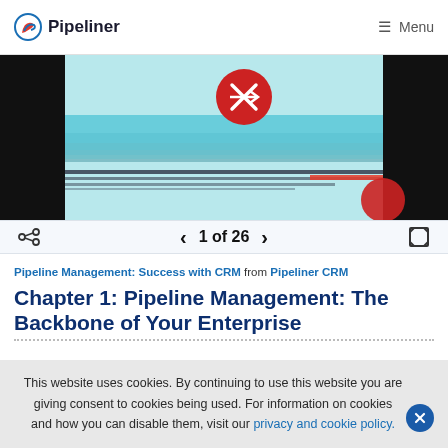Pipeliner  Menu
[Figure (screenshot): Slide viewer showing a dark image with teal/cyan horizontal streaks and a red circle with X icon in the top center area, and a red element at the bottom right. Black bars on left and right sides.]
1 of 26
Pipeline Management: Success with CRM from Pipeliner CRM
Chapter 1: Pipeline Management: The Backbone of Your Enterprise
This website uses cookies. By continuing to use this website you are giving consent to cookies being used. For information on cookies and how you can disable them, visit our privacy and cookie policy.